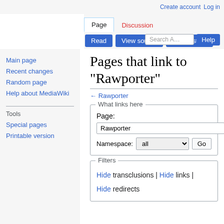Create account  Log in
Page  Discussion  Read  View source  View history  Search  Help
Pages that link to "Rawporter"
← Rawporter
What links here — Page: Rawporter  Namespace: all  Go
Filters — Hide transclusions | Hide links | Hide redirects
Main page
Recent changes
Random page
Help about MediaWiki
Tools
Special pages
Printable version